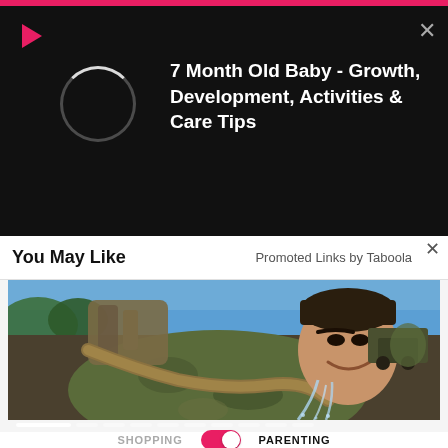[Figure (screenshot): Pink top bar at the top of the page]
[Figure (screenshot): Video player overlay panel with dark background, red play icon, circular spinner/loading ring, close X button top right, and white bold text title '7 Month Old Baby - Growth, Development, Activities & Care Tips']
You May Like    Promoted Links by Taboola
[Figure (photo): Photo of a soldier in camouflage gear drinking from a fire hose, bending forward with water spraying, military vehicles in background, blue sky]
[Figure (screenshot): Pagination dots at bottom of photo carousel - one wide white dot followed by several narrow gray dots]
SHOPPING  [toggle]  PARENTING